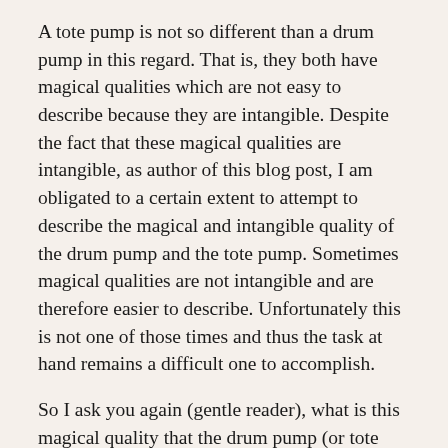A tote pump is not so different than a drum pump in this regard. That is, they both have magical qualities which are not easy to describe because they are intangible. Despite the fact that these magical qualities are intangible, as author of this blog post, I am obligated to a certain extent to attempt to describe the magical and intangible quality of the drum pump and the tote pump. Sometimes magical qualities are not intangible and are therefore easier to describe. Unfortunately this is not one of those times and thus the task at hand remains a difficult one to accomplish.
So I ask you again (gentle reader), what is this magical quality that the drum pump (or tote pump if you will) happens to possess and how might I best describe it if it is so intangible a quality as to be difficult to describe? These are no easy questions to answer for the very same reason that it is difficult to describe the magical qualities inherent in the drum